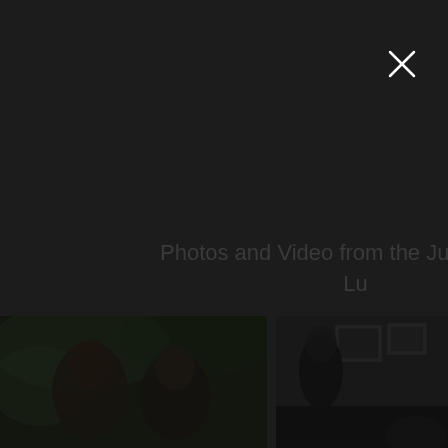[Figure (other): Close button (X) in white on dark background, upper right area]
Photos and Video from the Ju... Lu...
[Figure (photo): Two people photographed outdoors with green foliage in background, dark toned image]
[Figure (photo): Person inside a room with framed pictures on the wall, dark toned image with additional person visible at bottom right]